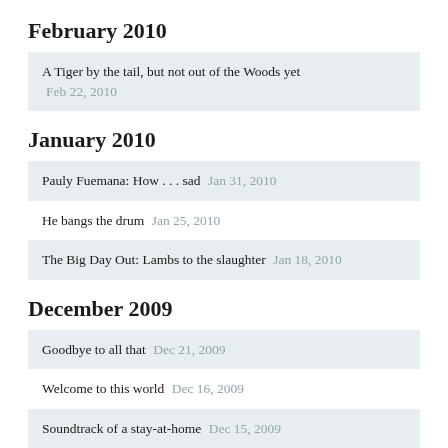February 2010
A Tiger by the tail, but not out of the Woods yet  Feb 22, 2010
January 2010
Pauly Fuemana: How . . . sad  Jan 31, 2010
He bangs the drum  Jan 25, 2010
The Big Day Out: Lambs to the slaughter  Jan 18, 2010
December 2009
Goodbye to all that  Dec 21, 2009
Welcome to this world  Dec 16, 2009
Soundtrack of a stay-at-home  Dec 15, 2009
Don't Fall off The Mountain  Dec 7, 2009
November 2009
“Thank you, you’ve been a lovely audience”  Nov